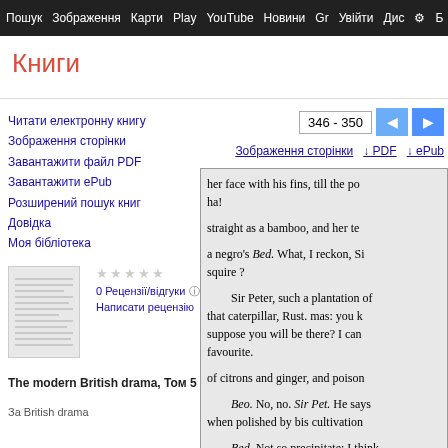Пошук  Зображення  Карти  Play  YouTube  Новини  Gr  Увійти  Дис  Б
Книги
Читати електронну книгу
Зображення сторінки
Завантажити файл PDF
Завантажити ePub
Розширений пошук книг
Довідка
Моя бібліотека
[Figure (screenshot): Book cover thumbnail with lines of text]
0 Рецензії/відгуки  Написати рецензію
The modern British drama, Том 5
За British drama
346 - 350
Зображення сторінки  ↓ PDF  ↓ ePub
her face with his fins, till the po
ha!
straight as a bamboo, and her te
a negro's Bed. What, I reckon, Si
squire ?
    Sir Peter, such a plantation of
that caterpillar, Rust. mas: you k
suppose you will be there? I can
favourite.
of citrons and ginger, and poison
    Beo. No, no. Sir Pet. He says 
when polished by bis cultivation
    Bed. Not so precipitate: I think